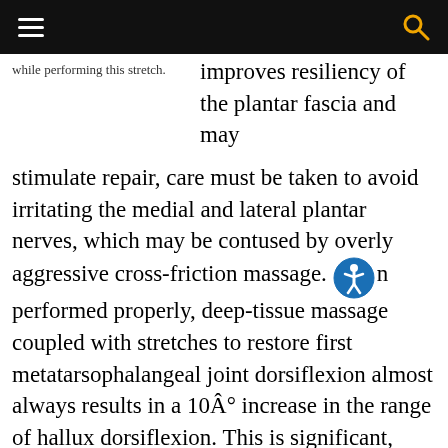[navigation bar with hamburger menu and search icon]
while performing this stretch.
improves resiliency of the plantar fascia and may stimulate repair, care must be taken to avoid irritating the medial and lateral plantar nerves, which may be contused by overly aggressive cross-friction massage. When performed properly, deep-tissue massage coupled with stretches to restore first metatarsophalangeal joint dorsiflexion almost always results in a 10Â° increase in the range of hallux dorsiflexion. This is significant, since surgical release of the medial band of the plantar fascia has been shown to increase the range of first metatarsophalangeal joint dorsiflexion by 10Â°.⁷